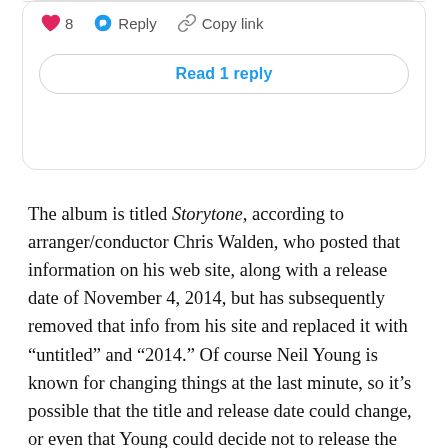[Figure (screenshot): Social media comment card UI showing: heart icon with count 8, Reply button, Copy link button, and a 'Read 1 reply' button]
The album is titled Storytone, according to arranger/conductor Chris Walden, who posted that information on his web site, along with a release date of November 4, 2014, but has subsequently removed that info from his site and replaced it with “untitled” and “2014.” Of course Neil Young is known for changing things at the last minute, so it’s possible that the title and release date could change, or even that Young could decide not to release the album at all.
Walden, according to Wikipedia, is known “for writing big band and orchestral arrangements for recording artists such as Michael Bublé, Diana Krall, Jennifer Hudson, Paul Anka and Christopher Cross.” He has been a part of